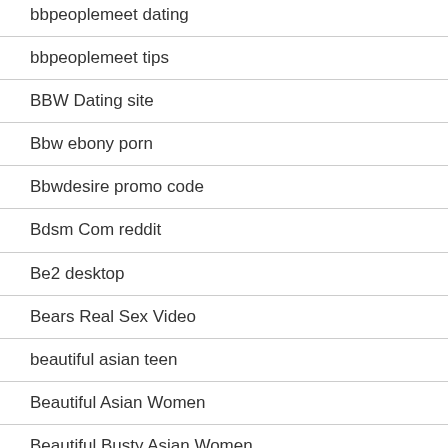bbpeoplemeet dating
bbpeoplemeet tips
BBW Dating site
Bbw ebony porn
Bbwdesire promo code
Bdsm Com reddit
Be2 desktop
Bears Real Sex Video
beautiful asian teen
Beautiful Asian Women
Beautiful Busty Asian Women
Beautiful Cambodian Women